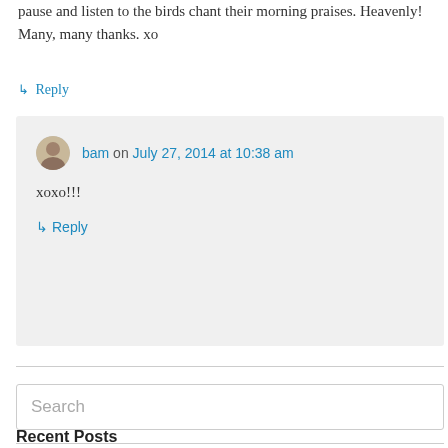pause and listen to the birds chant their morning praises. Heavenly! Many, many thanks. xo
↳ Reply
bam on July 27, 2014 at 10:38 am
xoxo!!!
↳ Reply
Search
Recent Posts